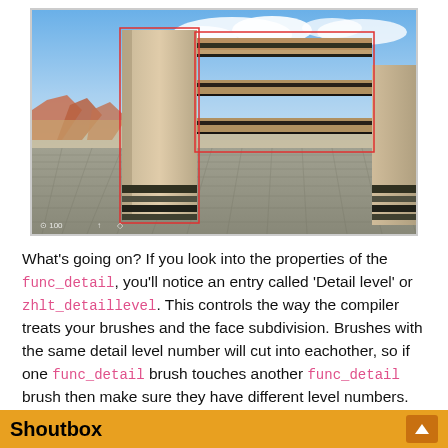[Figure (screenshot): 3D game engine editor screenshot showing concrete pillars and layered metal beam structures in a desert environment with blue sky. Red selection outlines visible around brush geometry. Green grid floor visible. Small HUD indicators at bottom left.]
What's going on? If you look into the properties of the func_detail, you'll notice an entry called 'Detail level' or zhlt_detaillevel. This controls the way the compiler treats your brushes and the face subdivision. Brushes with the same detail level number will cut into eachother, so if one func_detail brush touches another func_detail brush then make sure they have different level numbers. Note: even if you tie 2 brushes into 1
Shoutbox